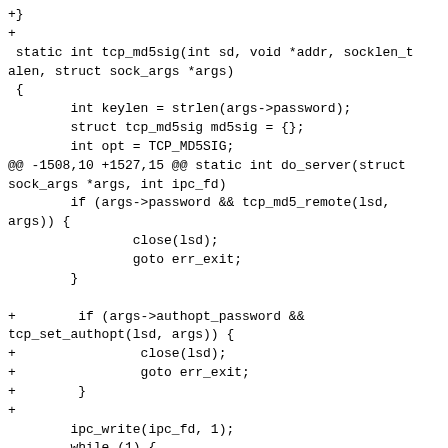+}
+
 static int tcp_md5sig(int sd, void *addr, socklen_t alen, struct sock_args *args)
 {
        int keylen = strlen(args->password);
        struct tcp_md5sig md5sig = {};
        int opt = TCP_MD5SIG;
@@ -1508,10 +1527,15 @@ static int do_server(struct sock_args *args, int ipc_fd)
        if (args->password && tcp_md5_remote(lsd,
args)) {
                close(lsd);
                goto err_exit;
        }

+        if (args->authopt_password &&
tcp_set_authopt(lsd, args)) {
+                close(lsd);
+                goto err_exit;
+        }
+
        ipc_write(ipc_fd, 1);
        while (1) {
                log_msg("waiting for client
connection.\n");
                FD_ZERO(&rfds);
                FD_SET(lsd, &rfds);
@@ -1630,10 +1654,13 @@ static int connectsock(void *addr, socklen_t alen, struct sock_args *args)